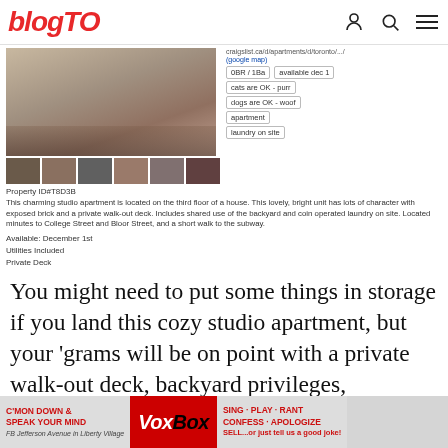blogTO
[Figure (photo): Photo of a bedroom/studio apartment interior with a bed and hardwood floors, plus thumbnail images below]
Property ID#T8D3B
This charming studio apartment is located on the third floor of a house. This lovely, bright unit has lots of character with exposed brick and a private walk-out deck. Includes shared use of the backyard and coin operated laundry on site. Located minutes to College Street and Bloor Street, and a short walk to the subway.
Available: December 1st
Utilities Included
Private Deck
You might need to put some things in storage if you land this cozy studio apartment, but your 'grams will be on point with a private walk-out deck, backyard privileges, hardwood floors, a sloped ceiling, and an entire wall of exposed brick – the holy grail of millennial house hunting... just steps from the TTC.
[Figure (other): VoxBox advertisement banner]